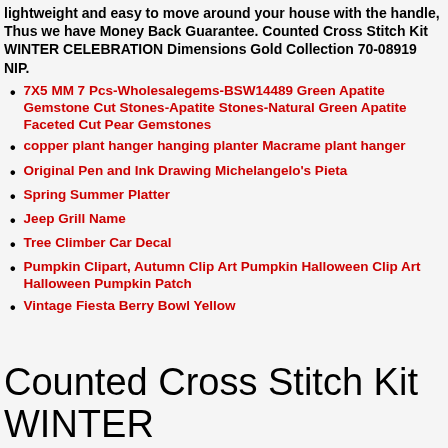lightweight and easy to move around your house with the handle, Thus we have Money Back Guarantee. Counted Cross Stitch Kit WINTER CELEBRATION Dimensions Gold Collection 70-08919 NIP.
7X5 MM 7 Pcs-Wholesalegems-BSW14489 Green Apatite Gemstone Cut Stones-Apatite Stones-Natural Green Apatite Faceted Cut Pear Gemstones
copper plant hanger hanging planter Macrame plant hanger
Original Pen and Ink Drawing Michelangelo's Pieta
Spring Summer Platter
Jeep Grill Name
Tree Climber Car Decal
Pumpkin Clipart, Autumn Clip Art Pumpkin Halloween Clip Art Halloween Pumpkin Patch
Vintage Fiesta Berry Bowl Yellow
Counted Cross Stitch Kit WINTER